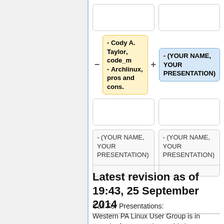[Figure (flowchart): A scheduling grid showing presentation slots. Top row has two empty white cells. Second row has a yellow cell with '- Cody A. Taylor, code_m - Archlinux, pros and cons.' flanked by minus and plus operators, and a blue cell with '- (YOUR NAME, YOUR PRESENTATION)'. Third row has two empty white cells. Fourth row has two placeholder cells each containing '- (YOUR NAME, YOUR PRESENTATION)'.]
Latest revision as of 19:43, 25 September 2014
Call For Presentations:
Western PA Linux User Group is in search of presentations. This is your opportunity to share your experience